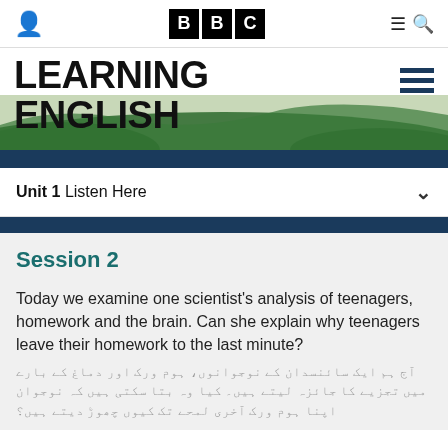BBC Learning English
LEARNING ENGLISH
Unit 1 Listen Here
Session 2
Today we examine one scientist's analysis of teenagers, homework and the brain. Can she explain why teenagers leave their homework to the last minute?
[Hindi/Urdu translation text]